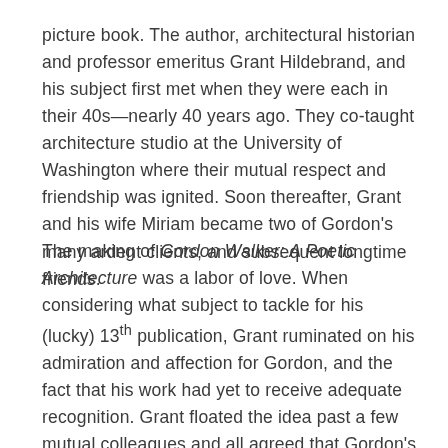picture book. The author, architectural historian and professor emeritus Grant Hildebrand, and his subject first met when they were each in their 40s—nearly 40 years ago. They co-taught architecture studio at the University of Washington where their mutual respect and friendship was ignited. Soon thereafter, Grant and his wife Miriam became two of Gordon's many ardent clients, and subsequent longtime friends.
The making of Gordon Walker: A Poetic Architecture was a labor of love. When considering what subject to tackle for his (lucky) 13th publication, Grant ruminated on his admiration and affection for Gordon, and the fact that his work had yet to receive adequate recognition. Grant floated the idea past a few mutual colleagues and all agreed that Gordon's story should be Grant's next target. And so it began. Early in the process, Gordon asked me if I would join him at a working meeting with Grant and